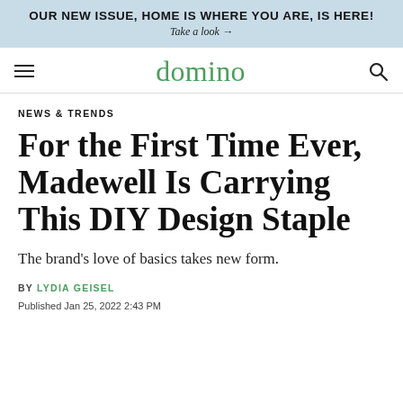OUR NEW ISSUE, HOME IS WHERE YOU ARE, IS HERE! Take a look →
domino
NEWS & TRENDS
For the First Time Ever, Madewell Is Carrying This DIY Design Staple
The brand's love of basics takes new form.
BY LYDIA GEISEL
Published Jan 25, 2022 2:43 PM